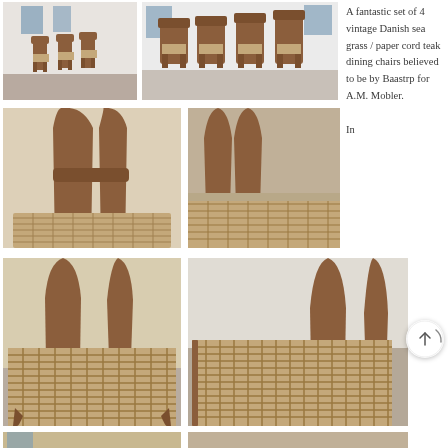[Figure (photo): Small group of vintage Danish teak dining chairs with sea grass seats, viewed from the side in a white room]
[Figure (photo): Row of four vintage Danish teak dining chairs with paper cord/sea grass seats lined up against a white wall]
A fantastic set of 4 vintage Danish sea grass / paper cord teak dining chairs believed to be by Baastrp for A.M. Mobler.

In
[Figure (photo): Close-up of teak chair back and frame detail, showing curved backrest and woven seat]
[Figure (photo): Close-up of chair back and woven sea grass seat from side angle]
[Figure (photo): Vintage Danish teak chair with woven sea grass seat viewed from front-left angle]
[Figure (photo): Vintage Danish teak chair with woven paper cord seat viewed from above and side]
[Figure (photo): Partial view of vintage Danish teak chair at bottom of page]
[Figure (photo): Partial view of another vintage Danish teak chair at bottom of page]